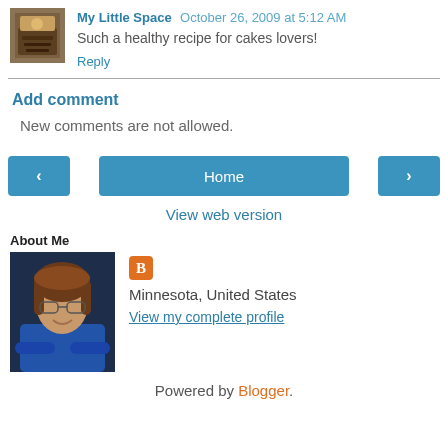My Little Space  October 26, 2009 at 5:12 AM
Such a healthy recipe for cakes lovers!
Reply
Add comment
New comments are not allowed.
[Figure (screenshot): Navigation bar with left arrow, Home, and right arrow buttons]
View web version
About Me
[Figure (photo): Profile photo of a woman with brown hair, glasses, wearing a blue jacket]
Minnesota, United States
View my complete profile
Powered by Blogger.